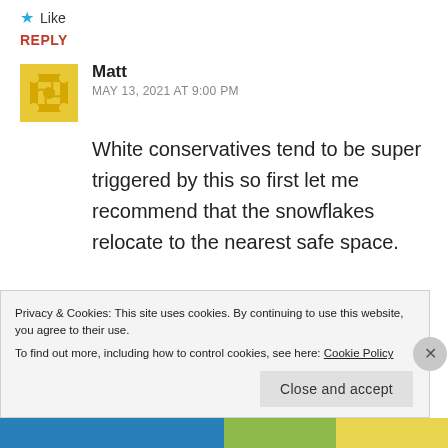★ Like
REPLY
Matt
MAY 13, 2021 AT 9:00 PM
White conservatives tend to be super triggered by this so first let me recommend that the snowflakes relocate to the nearest safe space.
Privacy & Cookies: This site uses cookies. By continuing to use this website, you agree to their use.
To find out more, including how to control cookies, see here: Cookie Policy
Close and accept